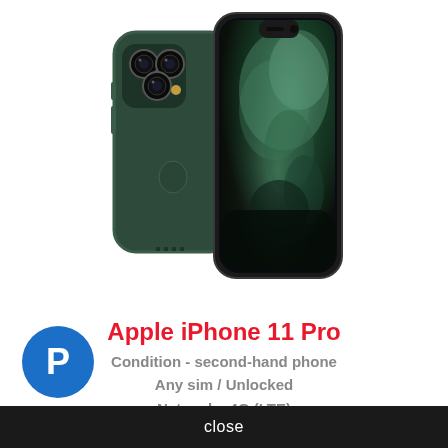[Figure (photo): Apple iPhone 11 Pro shown from two angles: back view (midnight green with triple camera system) and front view (showing green/dark wallpaper on screen)]
Apple iPhone 11 Pro
Condition - second-hand phone
Any sim / Unlocked
Network - 4G (LTE)
Display - 5.8"
Camera - 12 MP, 12MP, 12MP
[Figure (logo): PayPal logo - blue circle with white P]
close